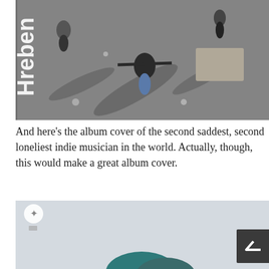[Figure (photo): Aerial/overhead Google Street View photograph of people on a street or plaza, with text 'Hreben' visible painted on the ground. One person in the center has arms outstretched. Long shadows visible.]
And here's the album cover of the second saddest, second loneliest indie musician in the world. Actually, though, this would make a great album cover.
[Figure (screenshot): Partial screenshot of a webpage or map interface showing a light gray/blue background, a white circle icon with a star/asterisk, and the top of what appears to be a teal/dark blue shape at the bottom. A dark scroll-to-top button with an upward chevron is visible.]